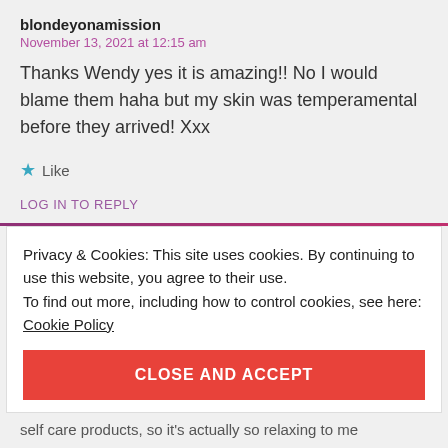blondeyonamission
November 13, 2021 at 12:15 am
Thanks Wendy yes it is amazing!! No I would blame them haha but my skin was temperamental before they arrived! Xxx
Like
LOG IN TO REPLY
Privacy & Cookies: This site uses cookies. By continuing to use this website, you agree to their use.
To find out more, including how to control cookies, see here:
Cookie Policy
CLOSE AND ACCEPT
self care products, so it's actually so relaxing to me